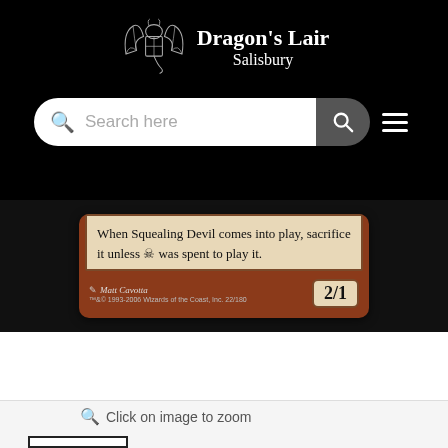[Figure (logo): Dragon's Lair Salisbury logo with dragon icon and text on black header bar]
[Figure (screenshot): Search bar with 'Search here' placeholder on black background with search button and menu icon]
[Figure (photo): Magic: The Gathering card bottom portion showing text box: 'When Squealing Devil comes into play, sacrifice it unless a black mana symbol was spent to play it.' Artist: Matt Cavotta. Power/Toughness: 2/1]
Click on image to zoom
[Figure (other): Empty white thumbnail box with black border]